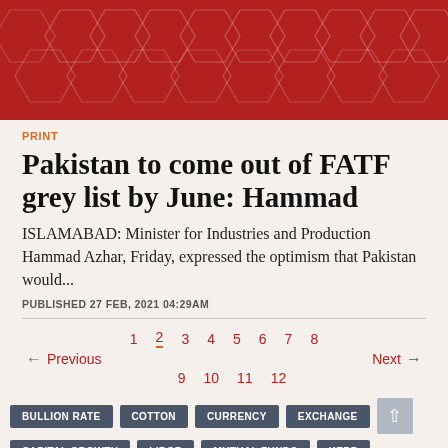[Figure (illustration): Red banner header with hexagonal geometric pattern in a darker red on a crimson background]
PRINT
Pakistan to come out of FATF grey list by June: Hammad
ISLAMABAD: Minister for Industries and Production Hammad Azhar, Friday, expressed the optimism that Pakistan would...
PUBLISHED 27 FEB, 2021 04:29AM
1 2 3 4 5 6 7 8 ← Previous Next → 9 10 11 12
BULLION RATE  COTTON  CURRENCY  EXCHANGE  CAPITAL GROWTH  LIBOR  MUTUAL FUNDS  KERB